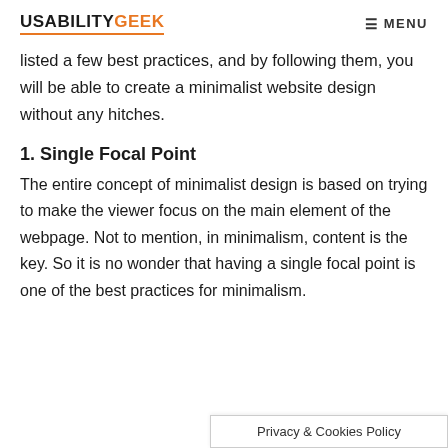USABILITYGEEK  MENU
listed a few best practices, and by following them, you will be able to create a minimalist website design without any hitches.
1. Single Focal Point
The entire concept of minimalist design is based on trying to make the viewer focus on the main element of the webpage. Not to mention, in minimalism, content is the key. So it is no wonder that having a single focal point is one of the best practices for minimalism.
Privacy & Cookies Policy